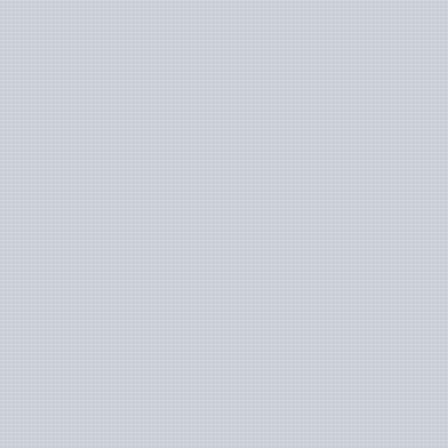[Figure (other): Left panel with light gray linen-textured background, separated by a vertical blue border line from the right panel.]
I'll share the necessary steps for deploying a Ghost blog with Docker and Traefik.
Today in Techrights
[Meme] The World Wide Web Has Become Bloated and Slow
Gemini Graduating to First Class Citizen
Links 27/06/2022: New Curl and Okular Digital Signing
Links 27/06/2022: GNOME Design Rant
IRC Proceedings: Sunday, June 26, 2022